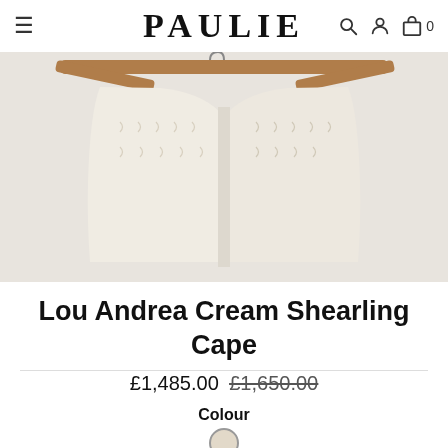PAULIE — navigation bar with hamburger menu, logo, search, account, and bag icons (0 items)
[Figure (photo): Close-up product photo of a cream shearling cape hanging on a wooden hanger against a light grey background. The cape is cream/off-white fluffy shearling fabric with a front opening visible in the centre.]
Lou Andrea Cream Shearling Cape
£1,485.00 £1,650.00
Colour